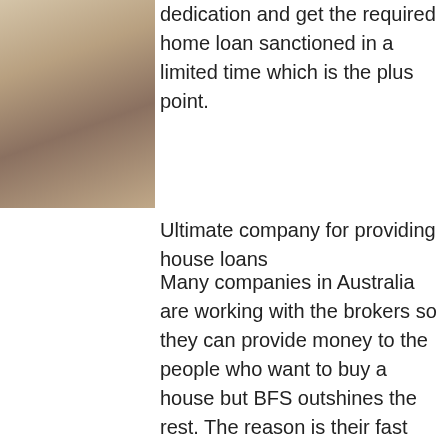[Figure (photo): Partial photo of a person, cropped on the left side of the page, upper portion only]
dedication and get the required home loan sanctioned in a limited time which is the plus point.
Ultimate company for providing house loans
Many companies in Australia are working with the brokers so they can provide money to the people who want to buy a house but BFS outshines the rest. The reason is their fast and efficient services and as soon as they are contacted by a new applicant they start the process immediately. For people who do not have the extra time for the process and formalities of the banks and are first home buyers, BFS is the place where they should come easily without hesitation. They provide the best services which are offered by exceptional brokers who prove to be a strong bond between the bank and the applicants. BFS